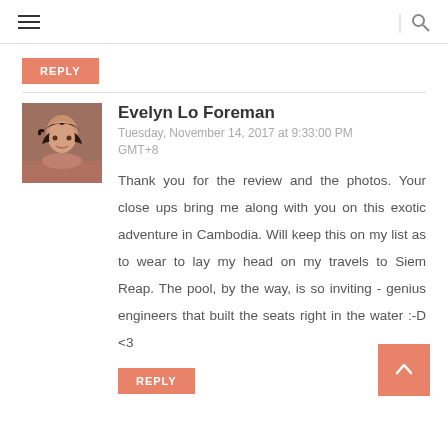≡ | 🔍
REPLY
Evelyn Lo Foreman
Tuesday, November 14, 2017 at 9:33:00 PM GMT+8
Thank you for the review and the photos. Your close ups bring me along with you on this exotic adventure in Cambodia. Will keep this on my list as to wear to lay my head on my travels to Siem Reap. The pool, by the way, is so inviting - genius engineers that built the seats right in the water :-D <3
REPLY